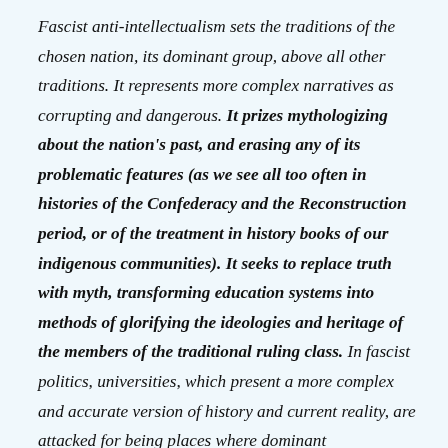Fascist anti-intellectualism sets the traditions of the chosen nation, its dominant group, above all other traditions. It represents more complex narratives as corrupting and dangerous. It prizes mythologizing about the nation's past, and erasing any of its problematic features (as we see all too often in histories of the Confederacy and the Reconstruction period, or of the treatment in history books of our indigenous communities). It seeks to replace truth with myth, transforming education systems into methods of glorifying the ideologies and heritage of the members of the traditional ruling class. In fascist politics, universities, which present a more complex and accurate version of history and current reality, are attacked for being places where dominant